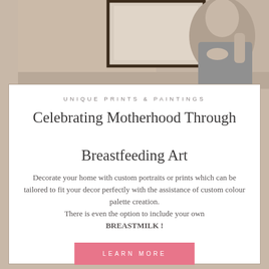[Figure (photo): Top portion showing a partial view of a woman in a silver/grey dress sitting, with a framed artwork visible on the wall behind her, on a warm beige background.]
UNIQUE PRINTS & PAINTINGS
Celebrating Motherhood Through Breastfeeding Art
Decorate your home with custom portraits or prints which can be tailored to fit your decor perfectly with the assistance of custom colour palette creation.
There is even the option to include your own BREASTMILK !
LEARN MORE